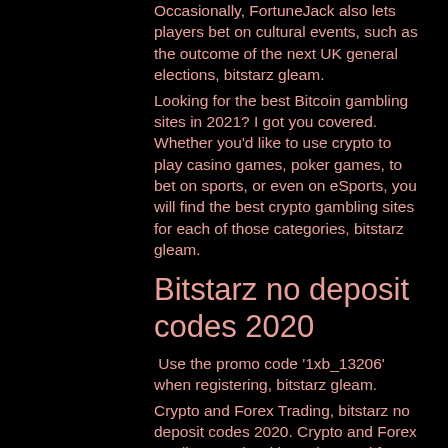Occasionally, FortuneJack also lets players bet on cultural events, such as the outcome of the next UK general elections, bitstarz gleam.
Looking for the best Bitcoin gambling sites in 2021? I got you covered. Whether you'd like to use crypto to play casino games, poker games, to bet on sports, or even on eSports, you will find the best crypto gambling sites for each of those categories, bitstarz gleam.
Bitstarz no deposit codes 2020
Use the promo code '1xb_13206' when registering, bitstarz gleam.
Crypto and Forex Trading, bitstarz no deposit codes 2020. Crypto and Forex Trading. Trade without the need for a crypto wallet. Multiple combinations of cryptos available to trade. ASIC and CySEC Regulated.